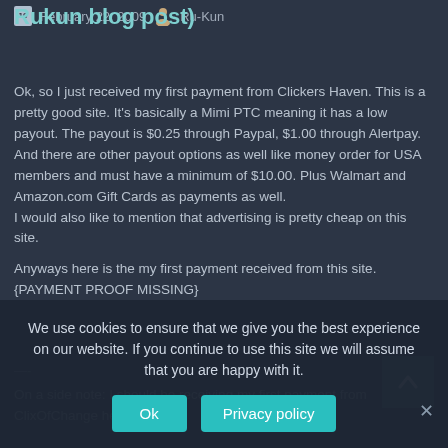Rukun blog post)
February 22, 2009   Ru-Kun
Ok, so I just received my first payment from Clickers Haven. This is a pretty good site. It's basically a Mimi PTC meaning it has a low payout. The payout is $0.25 through Paypal, $1.00 through Alertpay. And there are other payout options as well like money order for USA members and must have a minimum of $10.00. Plus Walmart and Amazon.com Gift Cards as payments as well.
I would also like to mention that advertising is pretty cheap on this site.
Anyways here is the my first payment received from this site.
{PAYMENT PROOF MISSING}
—-
On a side note: I should be receiving my first payment from ClixOfChange here
We use cookies to ensure that we give you the best experience on our website. If you continue to use this site we will assume that you are happy with it.